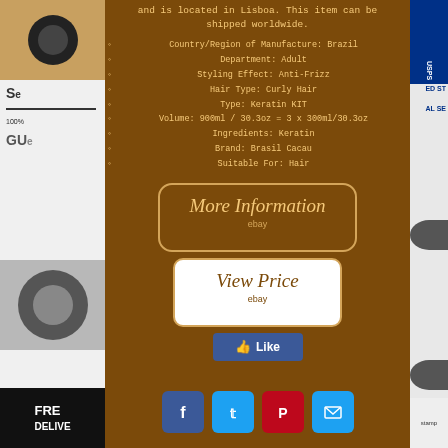and is located in Lisboa. This item can be shipped worldwide.
Country/Region of Manufacture: Brazil
Department: Adult
Styling Effect: Anti-Frizz
Hair Type: Curly Hair
Type: Keratin KIT
Volume: 900ml / 30.3oz = 3 x 300ml/30.3oz
Ingredients: Keratin
Brand: Brasil Cacau
Suitable For: Hair
[Figure (other): More Information button with ebay label, italic cursive text on brown background with tan border]
[Figure (other): View Price button with ebay label, italic cursive text on white background with tan border]
[Figure (other): Facebook Like button - blue rounded rectangle with thumbs up icon]
[Figure (other): Social media share buttons row: Facebook, Twitter, Pinterest, Email]